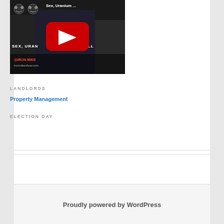[Figure (screenshot): YouTube video thumbnail showing 'Sex, Uranium ...' with a red play button and text 'SEX, URAN...CK & ROLL' in the video frame]
LANDLORDS
Property Management
ELECTION DAY
Proudly powered by WordPress